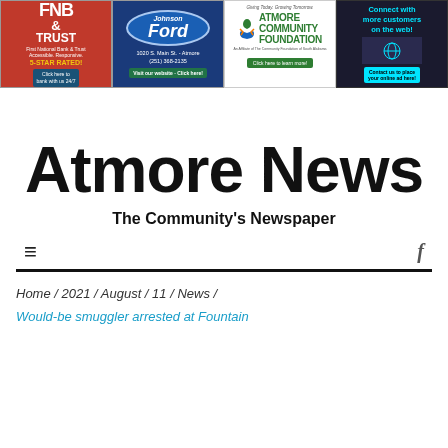[Figure (other): FNB & Trust bank advertisement banner - red background]
[Figure (other): Johnson Ford dealership advertisement - blue background with Ford oval logo]
[Figure (other): Atmore Community Foundation advertisement - white background with green logo]
[Figure (other): Connect with more customers on the web advertisement - dark background with cyan text]
Atmore News
The Community's Newspaper
Home / 2021 / August / 11 / News /
Would-be smuggler arrested at Fountain